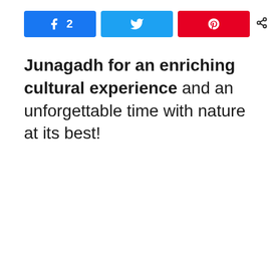[Figure (screenshot): Social share buttons: Facebook button with count 2, Twitter button, Pinterest button, and a share icon with '2 SHARES' text]
Junagadh for an enriching cultural experience and an unforgettable time with nature at its best!